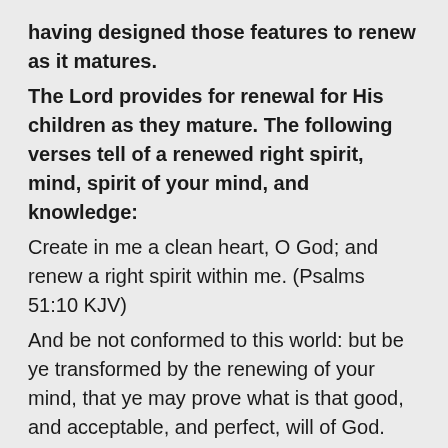having designed those features to renew as it matures.
The Lord provides for renewal for His children as they mature. The following verses tell of a renewed right spirit, mind, spirit of your mind, and knowledge:
Create in me a clean heart, O God; and renew a right spirit within me. (Psalms 51:10 KJV)
And be not conformed to this world: but be ye transformed by the renewing of your mind, that ye may prove what is that good, and acceptable, and perfect, will of God. (Romans 12:2 KJV)
And be renewed in the spirit of your mind;